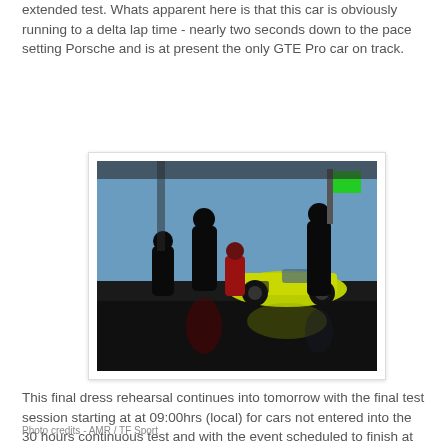extended test. Whats apparent here is that this car is obviously running to a delta lap time - nearly two seconds down to the pace setting Porsche and is at present the only GTE Pro car on track.
[Figure (photo): Racing pit lane scene with silhouetted mechanics working around a yellow/green GT race car (number 90) under bright sunlight, with reflections on the pit lane surface and a green flag visible above.]
This final dress rehearsal continues into tomorrow with the final test session starting at at 09:00hrs (local) for cars not entered into the 30 hours continuous test and with the event scheduled to finish at 16:00hrs local.
Photo credits - AMR / TF Sport